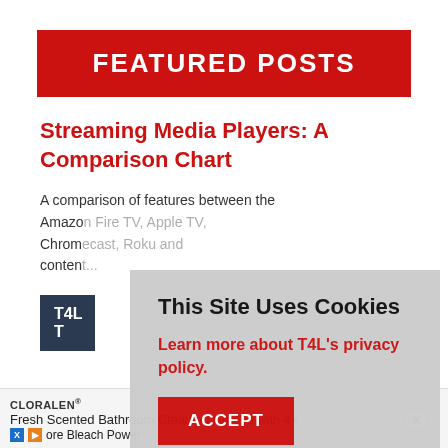FEATURED POSTS
Streaming Media Players: A Comparison Chart
A comparison of features between the Amazon... Chrom... content...
[Figure (screenshot): T4L logo/thumbnail partially visible]
This Site Uses Cookies
Learn more about T4L's privacy policy.
ACCEPT
CLORALEN® Fresh Scented Bathroom Cleaning Sprays with 4× ore Bleach Power